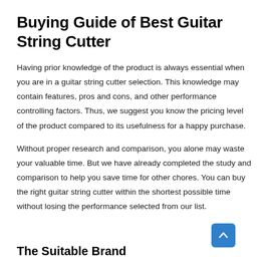Buying Guide of Best Guitar String Cutter
Having prior knowledge of the product is always essential when you are in a guitar string cutter selection. This knowledge may contain features, pros and cons, and other performance controlling factors. Thus, we suggest you know the pricing level of the product compared to its usefulness for a happy purchase.
Without proper research and comparison, you alone may waste your valuable time. But we have already completed the study and comparison to help you save time for other chores. You can buy the right guitar string cutter within the shortest possible time without losing the performance selected from our list.
The Suitable Brand